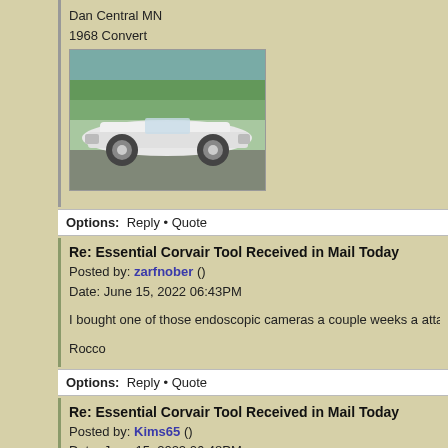Dan Central MN
1968 Convert
[Figure (photo): White 1968 Corvair convertible car parked outdoors]
Options: Reply • Quote
Re: Essential Corvair Tool Received in Mail Today
Posted by: zarfnober ()
Date: June 15, 2022 06:43PM
I bought one of those endoscopic cameras a couple weeks a attachmentvhas a magnet AND, one has a hook for grabbing
Rocco
Options: Reply • Quote
Re: Essential Corvair Tool Received in Mail Today
Posted by: Kims65 ()
Date: June 15, 2022 06:48PM
Absolutely needed down the "black hole" at the rear of the en